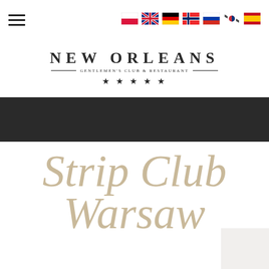[Figure (logo): Navigation header with hamburger menu icon and 7 country flags (Poland, UK, Germany, Norway, Russia, South Korea, Spain)]
NEW ORLEANS — GENTLEMEN'S CLUB & RESTAURANT — ★★★★★
[Figure (photo): Dark charcoal/black banner strip across the full width]
Strip Club Warsaw